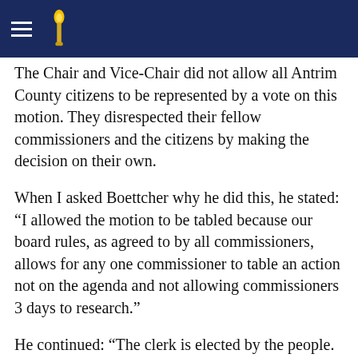Navigation header with hamburger menu and torch logo
The Chair and Vice-Chair did not allow all Antrim County citizens to be represented by a vote on this motion. They disrespected their fellow commissioners and the citizens by making the decision on their own.
When I asked Boettcher why he did this, he stated: “I allowed the motion to be tabled because our board rules, as agreed to by all commissioners, allows for any one commissioner to table an action not on the agenda and not allowing commissioners 3 days to research.”
He continued: “The clerk is elected by the people. The prosecutor is elected by the people.The board has no control over elected positions. We can’t direct the Prosecutor or the Clerk to take any specific action.”
At the January meeting, the Commissioners will vote for a new Chair and Vice-Chair. Hopefully they will elect people